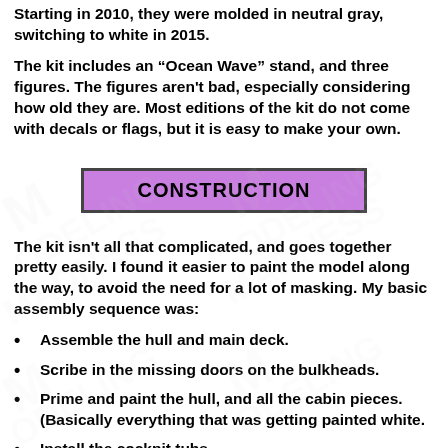Starting in 2010, they were molded in neutral gray, switching to white in 2015.
The kit includes an “Ocean Wave” stand, and three figures. The figures aren't bad, especially considering how old they are. Most editions of the kit do not come with decals or flags, but it is easy to make your own.
CONSTRUCTION
The kit isn't all that complicated, and goes together pretty easily. I found it easier to paint the model along the way, to avoid the need for a lot of masking. My basic assembly sequence was:
Assemble the hull and main deck.
Scribe in the missing doors on the bulkheads.
Prime and paint the hull, and all the cabin pieces. (Basically everything that was getting painted white.
Install the cockpit tubs.